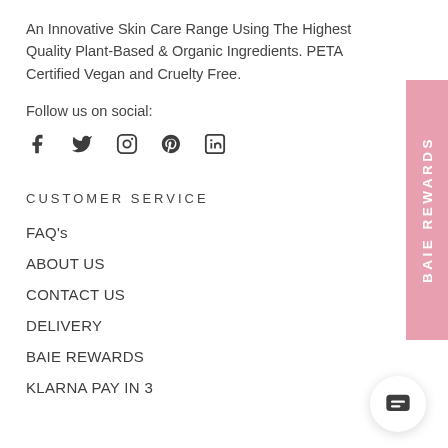An Innovative Skin Care Range Using The Highest Quality Plant-Based & Organic Ingredients. PETA Certified Vegan and Cruelty Free.
Follow us on social:
[Figure (illustration): Social media icons: Facebook, Twitter, Instagram, Pinterest, LinkedIn]
CUSTOMER SERVICE
FAQ's
ABOUT US
CONTACT US
DELIVERY
BAIE REWARDS
KLARNA PAY IN 3
[Figure (other): Pink vertical side tab with text BAIE REWARDS rotated 90 degrees]
[Figure (other): White circular chat bubble button with message icon]